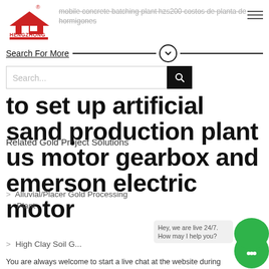[Figure (logo): HengZhong company logo — red house/building icon with Chinese characters below and registered trademark symbol]
mobile concrete batching plant hzs200 costos de planta de hormigones
Search For More
Search...
to set up artificial sand production plant us motor gearbox and emerson electric motor
Related Gold Project Solutions
> Alluvial/Placer Gold Processing Plant
> High Clay Soil G...
Hey, we are live 24/7. How may I help you?
You are always welcome to start a live chat at the website during